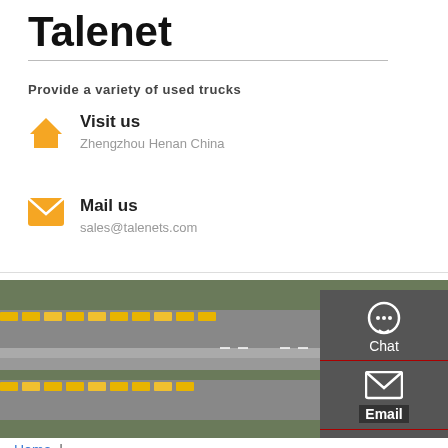Talenet
Provide a variety of used trucks
Visit us
Zhengzhou Henan China
Mail us
sales@talenets.com
[Figure (photo): Aerial view of a truck logistics yard with rows of yellow and white trucks parked in lanes]
[Figure (infographic): Sidebar panel with Chat, Email, Contact, and Top buttons on dark grey background]
Home | Second-hand Search Tipper Truck lb3146 with Ecosia -